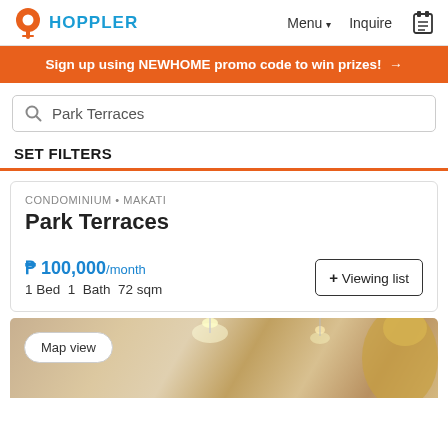HOPPLER — Menu ▾  Inquire
Sign up using NEWHOME promo code to win prizes! →
Park Terraces
SET FILTERS
CONDOMINIUM • MAKATI
Park Terraces
₱ 100,000/month
1 Bed  1  Bath  72 sqm
+ Viewing list
[Figure (photo): Interior photo of a room with ceiling lights and a person with blonde hair visible, partially cropped. Map view button overlaid at bottom left.]